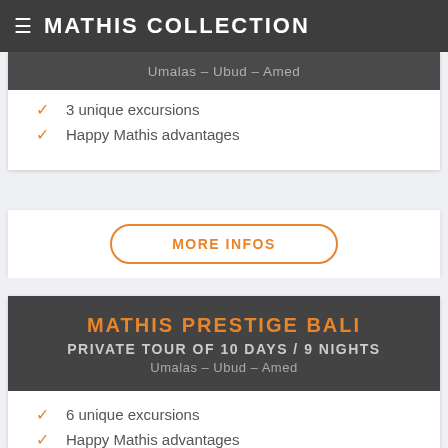MATHIS COLLECTION
Umalas – Ubud – Amed
3 unique excursions
Happy Mathis advantages
MORE INFOS
MATHIS PRESTIGE BALI
PRIVATE TOUR OF 10 DAYS / 9 NIGHTS
Umalas – Ubud – Amed
6 unique excursions
Happy Mathis advantages